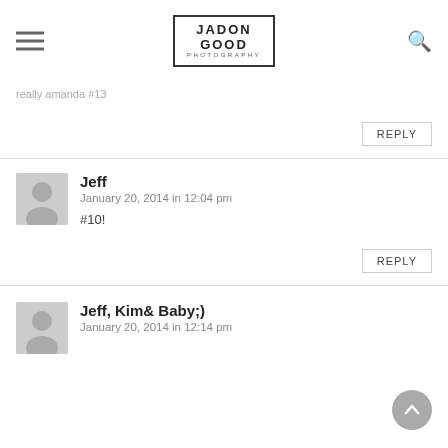JADON GOOD PHOTOGRAPHY
really amanda #13
REPLY
Jeff
January 20, 2014 in 12:04 pm
#10!
REPLY
Jeff, Kim& Baby;)
January 20, 2014 in 12:14 pm